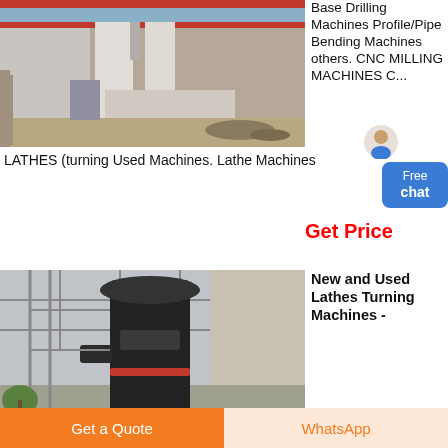[Figure (photo): Outdoor industrial milling/grinding machine installation with silos and industrial building]
Base Drilling Machines Profile/Pipe Bending Machines others. CNC MILLING MACHINES C...
LATHES (turning Used Machines. Lathe Machines
[Figure (other): Free chat button with person avatar]
Get Price
[Figure (photo): Industrial vertical machine/equipment inside a large warehouse or factory building]
New and Used Lathes Turning Machines -
Get a Quote
WhatsApp